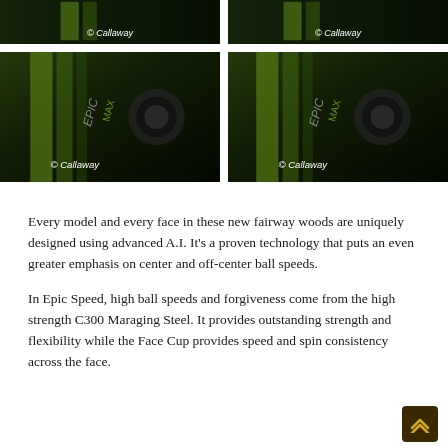[Figure (photo): Two side-by-side close-up photos of Callaway Epic Max fairway wood golf clubs against dark background, showing top portion, with © Callaway watermarks]
[Figure (photo): Two side-by-side close-up photos of Callaway Epic Max fairway wood golf clubs showing club face and hosel detail with green and black colorway, with © Callaway watermarks]
Every model and every face in these new fairway woods are uniquely designed using advanced A.I. It's a proven technology that puts an even greater emphasis on center and off-center ball speeds.
In Epic Speed, high ball speeds and forgiveness come from the high strength C300 Maraging Steel. It provides outstanding strength and flexibility while the Face Cup provides speed and spin consistency across the face.